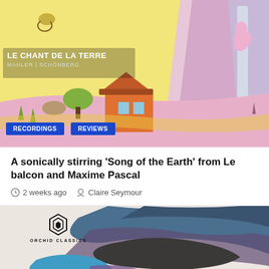[Figure (illustration): Colorful illustrated album cover for 'Le Chant de la Terre' by Mahler/Schönberg, featuring a snail, mountains, a house, and fantastical landscape in yellow, pink and purple tones]
LE CHANT DE LA TERRE
MAHLER | SCHÖNBERG
RECORDINGS
REVIEWS
A sonically stirring 'Song of the Earth' from Le balcon and Maxime Pascal
2 weeks ago   Claire Seymour
[Figure (photo): Watercolor-style album cover for 'Colourise' featuring black, blue and purple ink bleeding on white paper. Orchid Classics logo in upper left. Text reads COLOURISE / VAUGHAN WILLIAMS | BERKELEY | WARLOCK]
ORCHID CLASSICS
RECORDINGS
REVIEWS
COLOURISE
VAUGHAN WILLIAMS | BERKELEY | WARLOCK